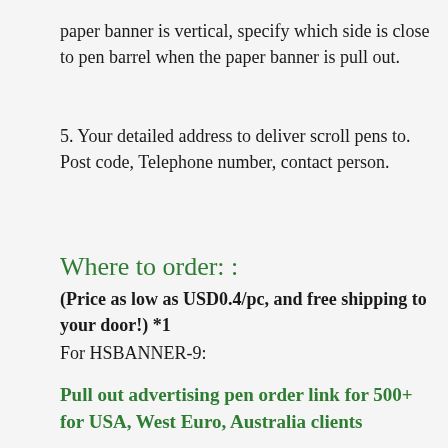paper banner is vertical, specify which side is close to pen barrel when the paper banner is pull out.
5. Your detailed address to deliver scroll pens to. Post code, Telephone number, contact person.
Where to order: :
(Price as low as USD0.4/pc, and free shipping to your door!) *1
For HSBANNER-9:
Pull out advertising pen order link for 500+ for USA, West Euro, Australia clients
Pull out advertising pen order link for